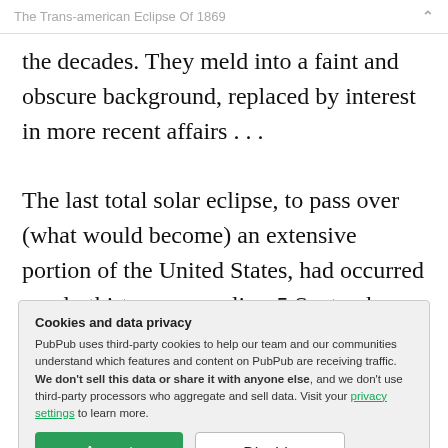The Trans-american Eclipse Of 1869
the decades. They meld into a faint and obscure background, replaced by interest in more recent affairs . . .
The last total solar eclipse, to pass over (what would become) an extensive portion of the United States, had occurred nearly thirty years earlier: 5 September 1840. At
Cookies and data privacy
PubPub uses third-party cookies to help our team and our communities understand which features and content on PubPub are receiving traffic. We don't sell this data or share it with anyone else, and we don't use third-party processors who aggregate and sell data. Visit your privacy settings to learn more.
astronomers on the track would have been